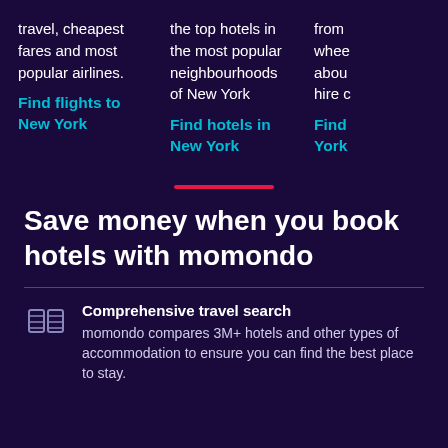travel, cheapest fares and most popular airlines.
Find flights to New York
the top hotels in the most popular neighbourhoods of New York
Find hotels in New York
from whee abou hire c
Find York
Save money when you book hotels with momondo
Comprehensive travel search
momondo compares 3M+ hotels and other types of accommodation to ensure you can find the best place to stay.